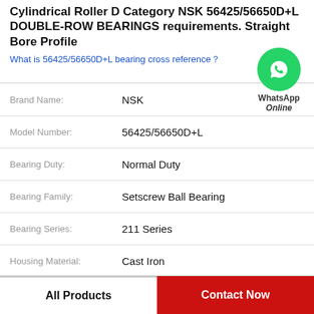Cylindrical Roller D Category NSK 56425/56650D+L DOUBLE-ROW BEARINGS requirements. Straight Bore Profile
What is 56425/56650D+L bearing cross reference?
| Property | Value |
| --- | --- |
| Brand Name: | NSK |
| Model Number: | 56425/56650D+L |
| Bearing Duty: | Normal Duty |
| Bearing Family: | Setscrew Ball Bearing |
| Bearing Series: | 211 Series |
| Housing Material: | Cast Iron |
| Housing Type: | 2 Bolt Pillow Block |
[Figure (logo): WhatsApp Online green circle icon with phone handset, labeled WhatsApp Online]
All Products    Contact Now